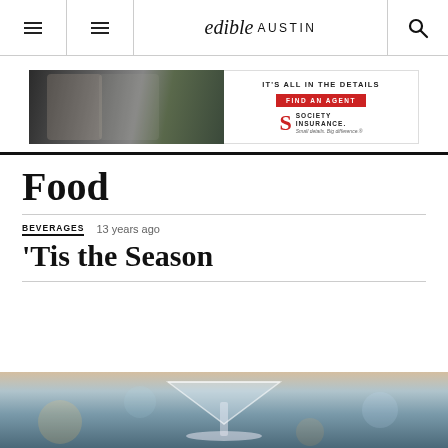edible AUSTIN
[Figure (photo): Society Insurance advertisement banner showing two restaurant workers on the left and text 'IT'S ALL IN THE DETAILS / FIND AN AGENT' with Society Insurance logo on the right]
Food
BEVERAGES   13 years ago
'Tis the Season
[Figure (photo): Close-up photo of a cocktail glass (martini glass) with blurred bokeh background in warm tones]